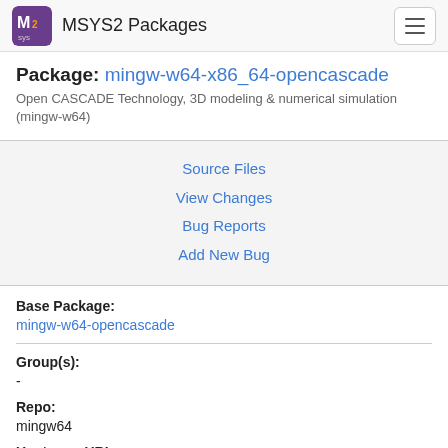MSYS2 Packages
Package: mingw-w64-x86_64-opencascade
Open CASCADE Technology, 3D modeling & numerical simulation (mingw-w64)
Source Files
View Changes
Bug Reports
Add New Bug
Base Package:
mingw-w64-opencascade
Group(s):
-
Repo:
mingw64
Upstream URL:
https://www.opencascade.org
License(s):
OCCT-exception-1.0